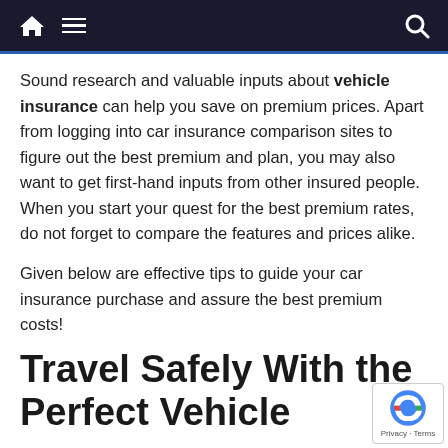Navigation bar with home icon, hamburger menu, and search icon
Sound research and valuable inputs about vehicle insurance can help you save on premium prices. Apart from logging into car insurance comparison sites to figure out the best premium and plan, you may also want to get first-hand inputs from other insured people. When you start your quest for the best premium rates, do not forget to compare the features and prices alike.
Given below are effective tips to guide your car insurance purchase and assure the best premium costs!
Travel Safely With the Perfect Vehicle